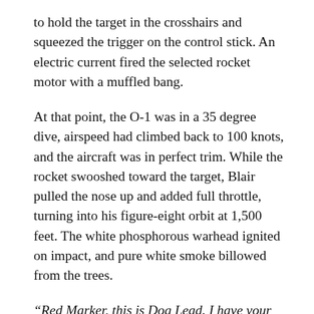to hold the target in the crosshairs and squeezed the trigger on the control stick. An electric current fired the selected rocket motor with a muffled bang.
At that point, the O-1 was in a 35 degree dive, airspeed had climbed back to 100 knots, and the aircraft was in perfect trim. While the rocket swooshed toward the target, Blair pulled the nose up and added full throttle, turning into his figure-eight orbit at 1,500 feet. The white phosphorous warhead ignited on impact, and pure white smoke billowed from the trees.
“Red Marker, this is Dog Lead. I have your mark.”